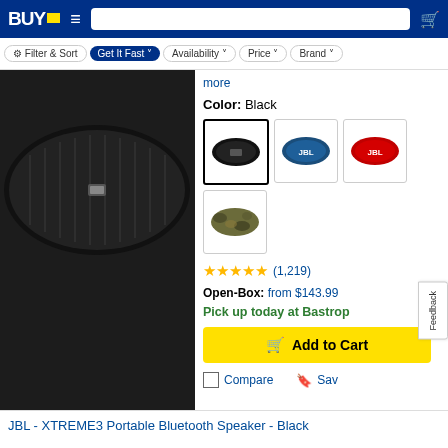BUY. Filter & Sort | Get It Fast | Availability | Price | Brand
[Figure (photo): JBL XTREME3 portable Bluetooth speaker in black, shown from above on a dark background]
more
Color: Black
[Figure (photo): Four color swatches for JBL speaker: Black (selected), Blue, Red, Camo]
★★★★★ (1,219)
Open-Box: from $143.99
Pick up today at Bastrop
Add to Cart
Compare    Sav
JBL - XTREME3 Portable Bluetooth Speaker - Black